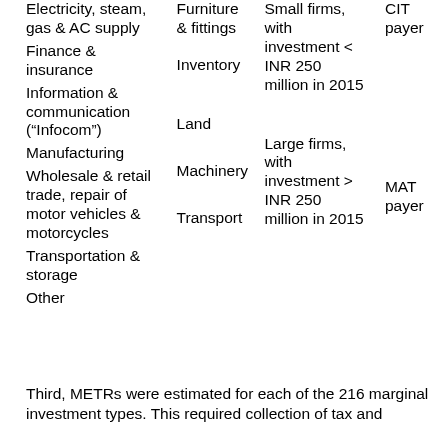Electricity, steam, gas & AC supply
Finance & insurance
Information & communication (“Infocom”)
Manufacturing
Wholesale & retail trade, repair of motor vehicles & motorcycles
Transportation & storage
Other
Furniture & fittings
Inventory
Land
Machinery
Transport
Small firms, with investment < INR 250 million in 2015
Large firms, with investment > INR 250 million in 2015
CIT payer
MAT payer
Third, METRs were estimated for each of the 216 marginal investment types. This required collection of tax and